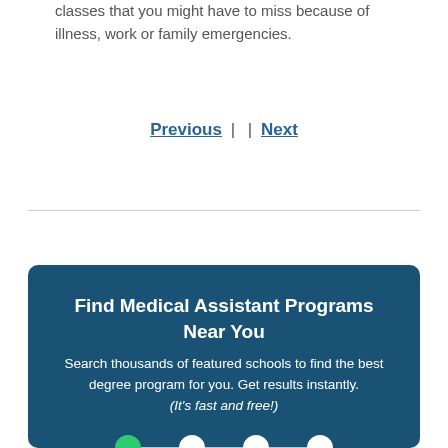classes that you might have to miss because of illness, work or family emergencies.
Previous  |  | Next
Find Medical Assistant Programs Near You
Search thousands of featured schools to find the best degree program for you. Get results instantly. (It's fast and free!)